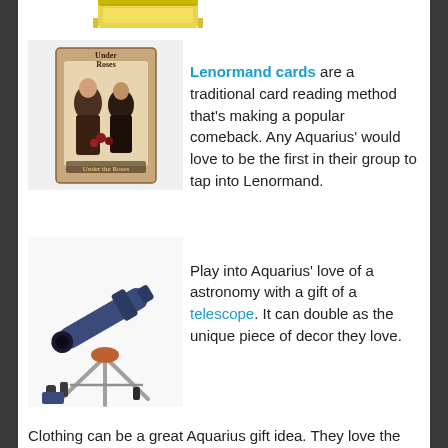[Figure (photo): Partial view of a yellow box product at the top of the page]
[Figure (photo): Lenormand cards box showing a vintage illustration of two figures]
Lenormand cards are a traditional card reading method that's making a popular comeback. Any Aquarius' would love to be the first in their group to tap into Lenormand.
[Figure (photo): A telescope on a tripod with accessories/eyepieces scattered around it]
Play into Aquarius' love of a astronomy with a gift of a telescope. It can double as the unique piece of decor they love.
Clothing can be a great Aquarius gift idea. They love the